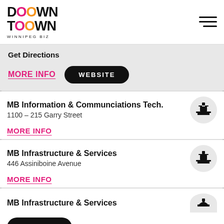[Figure (logo): Downtown Winnipeg BIZ logo with stylized D and overlapping O rings in pink and orange]
Get Directions
MORE INFO
WEBSITE
MB Information & Communciations Tech.
1100 – 215 Garry Street
MORE INFO
MB Infrastructure & Services
446 Assiniboine Avenue
MORE INFO
MB Infrastructure & Services
Go To Map